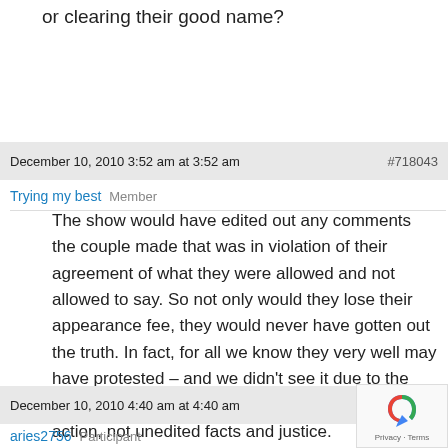or clearing their good name?
December 10, 2010 3:52 am at 3:52 am  #718043
Trying my best   Member
The show would have edited out any comments the couple made that was in violation of their agreement of what they were allowed and not allowed to say. So not only would they lose their appearance fee, they would never have gotten out the truth. In fact, for all we know they very well may have protested – and we didn't see it due to the producers editing! This is Hollywood, camera, action, not unedited facts and justice.
December 10, 2010 4:40 am at 4:40 am
aries2756   Participant